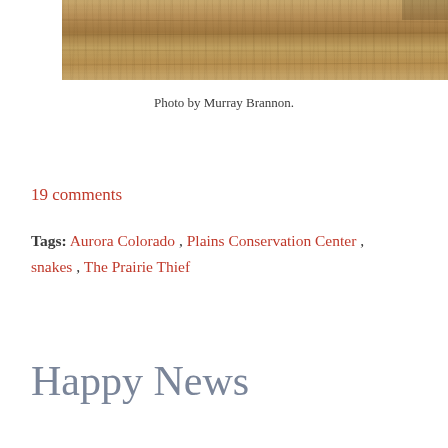[Figure (photo): Photograph of dry prairie grassland with tan and golden dried grass, taken at the Plains Conservation Center. Photo by Murray Brannon.]
Photo by Murray Brannon.
19 comments
Tags: Aurora Colorado , Plains Conservation Center , snakes , The Prairie Thief
Happy News